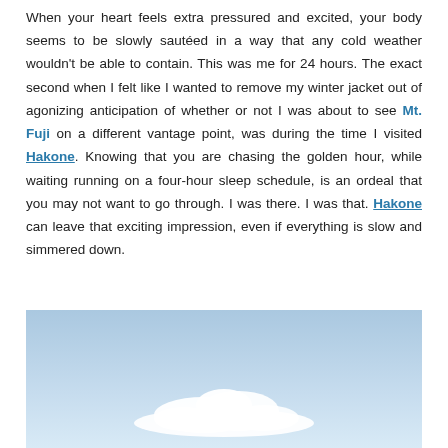When your heart feels extra pressured and excited, your body seems to be slowly sautéed in a way that any cold weather wouldn't be able to contain. This was me for 24 hours. The exact second when I felt like I wanted to remove my winter jacket out of agonizing anticipation of whether or not I was about to see Mt. Fuji on a different vantage point, was during the time I visited Hakone. Knowing that you are chasing the golden hour, while waiting running on a four-hour sleep schedule, is an ordeal that you may not want to go through. I was there. I was that. Hakone can leave that exciting impression, even if everything is slow and simmered down.
[Figure (photo): A photo of a blue sky with white clouds, likely taken from Hakone area.]